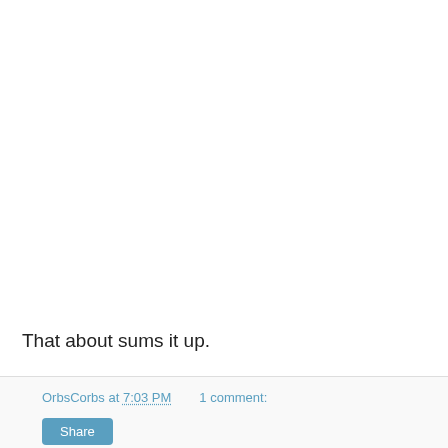That about sums it up.
OrbsCorbs at 7:03 PM    1 comment:
Share